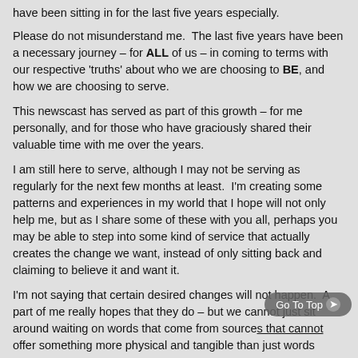have been sitting in for the last five years especially.
Please do not misunderstand me.  The last five years have been a necessary journey – for ALL of us – in coming to terms with our respective 'truths' about who we are choosing to BE, and how we are choosing to serve.
This newscast has served as part of this growth – for me personally, and for those who have graciously shared their valuable time with me over the years.
I am still here to serve, although I may not be serving as regularly for the next few months at least.  I'm creating some patterns and experiences in my world that I hope will not only help me, but as I share some of these with you all, perhaps you may be able to step into some kind of service that actually creates the change we want, instead of only sitting back and claiming to believe it and want it.
I'm not saying that certain desired changes will not happen.  A part of me really hopes that they do – but we cannot just sit around waiting on words that come from sources that cannot offer something more physical and tangible than just words